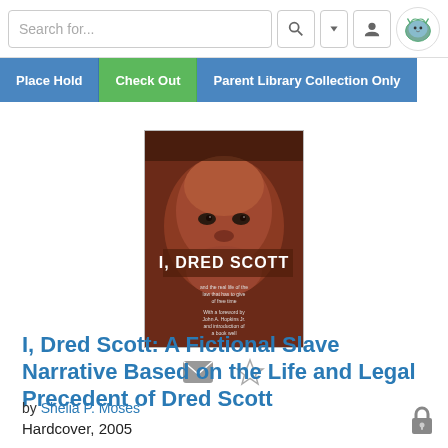Search for...
Place Hold | Check Out | Parent Library Collection Only
[Figure (photo): Book cover of 'I, Dred Scott: A Fictional Slave Narrative Based on the Life and Legal Precedent of Dred Scott' showing a close-up portrait of a Black man's face with the title text overlaid.]
I, Dred Scott: A Fictional Slave Narrative Based on the Life and Legal Precedent of Dred Scott
by Shelia P. Moses
Hardcover, 2005